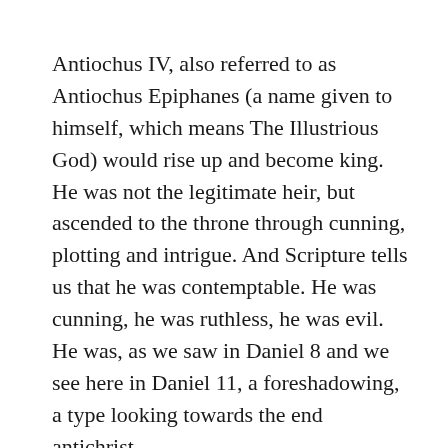Antiochus IV, also referred to as Antiochus Epiphanes (a name given to himself, which means The Illustrious God) would rise up and become king. He was not the legitimate heir, but ascended to the throne through cunning, plotting and intrigue. And Scripture tells us that he was contemptable. He was cunning, he was ruthless, he was evil. He was, as we saw in Daniel 8 and we see here in Daniel 11, a foreshadowing, a type looking towards the end antichrist.
Antiochus would kill the high priest in Jerusalem and replace him with someone more